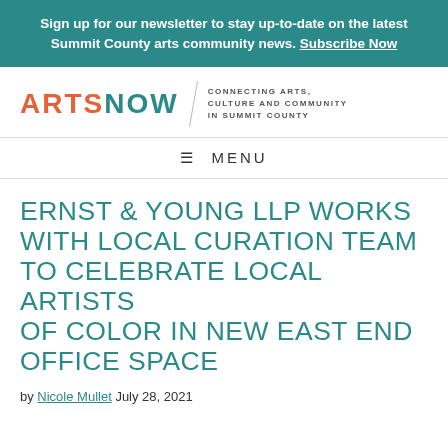Sign up for our newsletter to stay up-to-date on the latest Summit County arts community news. Subscribe Now
[Figure (logo): ArtsNow logo with orange ARTS and teal NOW text, diagonal divider line, tagline: CONNECTING ARTS, CULTURE AND COMMUNITY IN SUMMIT COUNTY]
≡ MENU
ERNST & YOUNG LLP WORKS WITH LOCAL CURATION TEAM TO CELEBRATE LOCAL ARTISTS OF COLOR IN NEW EAST END OFFICE SPACE
by Nicole Mullet July 28, 2021